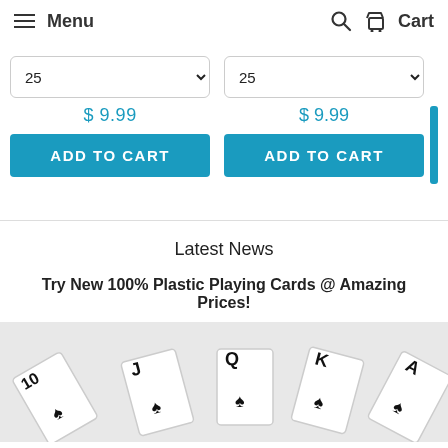Menu  [search icon]  Cart
25  $9.99  ADD TO CART
25  $9.99  ADD TO CART
Latest News
Try New 100% Plastic Playing Cards @ Amazing Prices!
[Figure (photo): Fan of playing cards showing 10, J, Q, K, A]